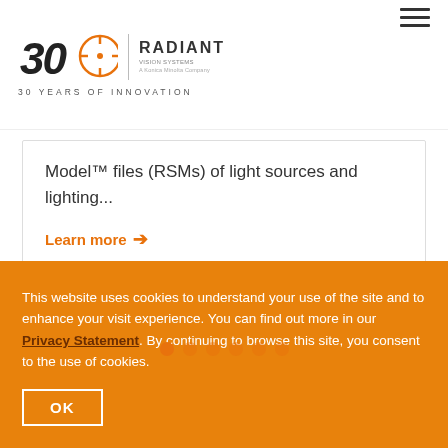Radiant Vision Systems — 30 Years of Innovation
Model™ files (RSMs) of light sources and lighting...
Learn more →
This website uses cookies to understand your use of the site and to enhance your visit experience. You can find out more in our Privacy Statement. By continuing to browse this site, you consent to the use of cookies.
OK